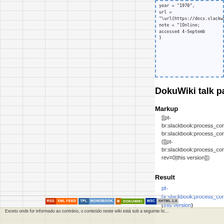year = "1970",
    url = "\url{https://docs.slackware.
    note = "[Online; accessed 4-Septemb
}
DokuWiki talk pages
Markup
[[pt-br:slackbook:process_control|pt-br:slackbook:process_control]] ([[pt-br:slackbook:process_control?rev=0|this version]])
Result
pt-br:slackbook:process_control (this version)
Exceto onde for informado ao contrário, o conteúdo neste wiki está sob a seguinte lic…